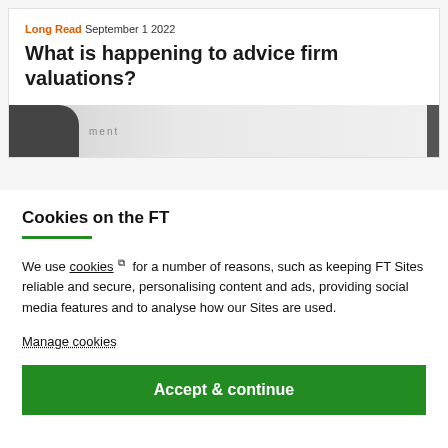Long Read September 1 2022
What is happening to advice firm valuations?
[Figure (photo): Partial image of a person and a whiteboard/document with text, serving as an article thumbnail.]
Cookies on the FT
We use cookies ⧉ for a number of reasons, such as keeping FT Sites reliable and secure, personalising content and ads, providing social media features and to analyse how our Sites are used.
Manage cookies
Accept & continue